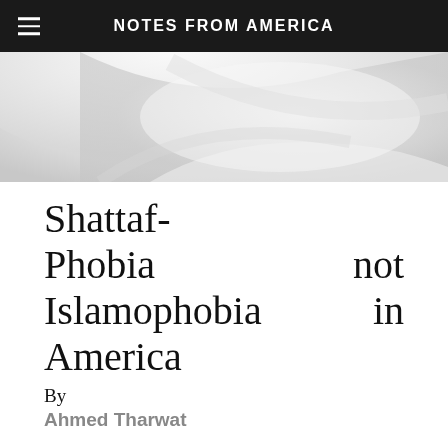NOTES FROM AMERICA
[Figure (photo): Close-up photo of white ceramic toilet/bathroom fixture with curved surfaces]
Shattaf-Phobia not Islamophobia in America
By
Ahmed Tharwat
We have so many phobias in this country; from a fear of olive pits and watermelon seeds, to a fear of foreigners and immigrants. Now it is the fear of Muslims, and Islamophobia. These phobias come